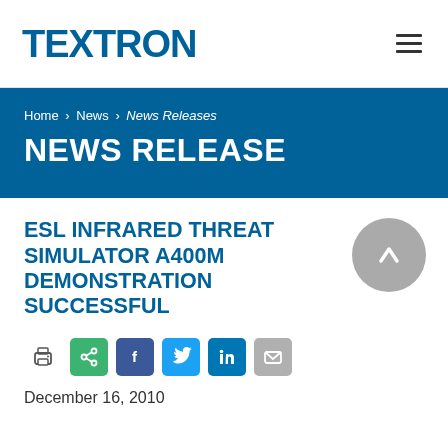TEXTRON
Home > News > News Releases
NEWS RELEASE
ESL INFRARED THREAT SIMULATOR A400M DEMONSTRATION SUCCESSFUL
December 16, 2010